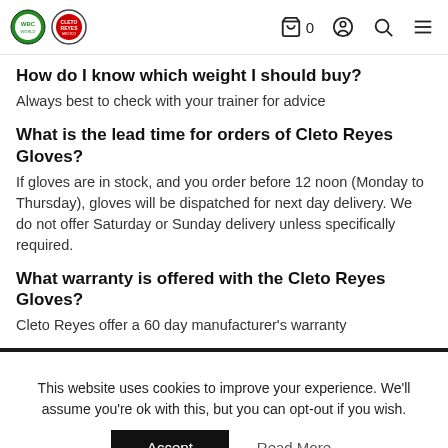WBC Cleto Reyes logo, cart icon with 0, user icon, search icon, menu icon
How do I know which weight I should buy?
Always best to check with your trainer for advice
What is the lead time for orders of Cleto Reyes Gloves?
If gloves are in stock, and you order before 12 noon (Monday to Thursday), gloves will be dispatched for next day delivery. We do not offer Saturday or Sunday delivery unless specifically required.
What warranty is offered with the Cleto Reyes Gloves?
Cleto Reyes offer a 60 day manufacturer's warranty
This website uses cookies to improve your experience. We'll assume you're ok with this, but you can opt-out if you wish.